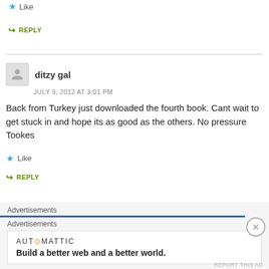★ Like
↪ REPLY
ditzy gal
JULY 9, 2012 AT 3:01 PM
Back from Turkey just downloaded the fourth book. Cant wait to get stuck in and hope its as good as the others. No pressure Tookes
★ Like
↪ REPLY
Advertisements
Advertisements
AUTOMATTIC
Build a better web and a better world.